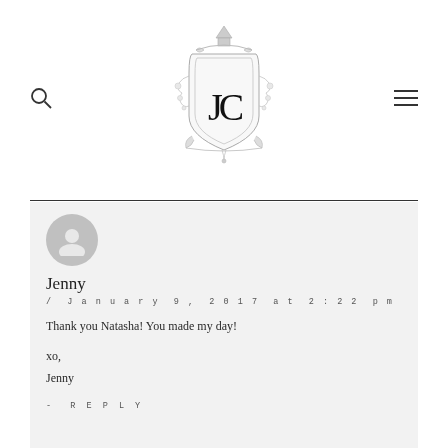[Figure (logo): Ornate crest/monogram logo with JC letters inside a decorative shield with floral elements and a lantern on top, rendered in light gray]
Jenny
/ January 9, 2017 at 2:22 pm
Thank you Natasha! You made my day!
xo,
Jenny
- REPLY